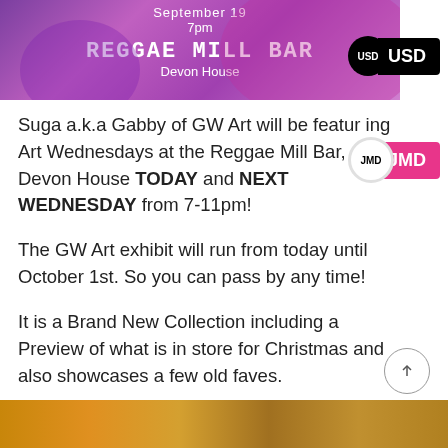[Figure (photo): Purple-toned promotional banner image for an art event. Text overlaid reads 'September 19', '7pm', 'REGGAE MILL BAR', 'Devon House' in white on a purple background with a person's face visible.]
Suga a.k.a Gabby of GW Art will be featuring Art Wednesdays at the Reggae Mill Bar, Devon House TODAY and NEXT WEDNESDAY from 7-11pm!
The GW Art exhibit will run from today until October 1st. So you can pass by any time!
It is a Brand New Collection including a Preview of what is in store for Christmas and also showcases a few old faves.
Sneak Peek!
[Figure (photo): Bottom strip showing a partial warm-toned image, beginning of a photo below the text content.]